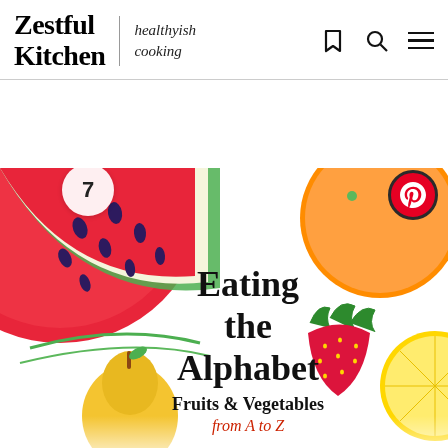Zestful Kitchen | healthyish cooking
[Figure (illustration): Book cover of 'Eating the Alphabet: Fruits & Vegetables from A to Z by Lois Ehlert' showing colorful illustrated fruits including watermelon, pear, strawberry, orange/peach, and cherries with a number 7 badge and Pinterest button overlay]